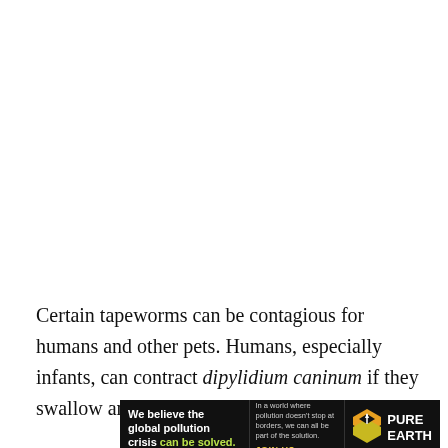Certain tapeworms can be contagious for humans and other pets. Humans, especially infants, can contract dipylidium caninum if they swallow an infected flea in a household with
[Figure (infographic): Advertisement banner for Pure Earth organization. Black background. Left section: bold white text 'We believe the global pollution crisis' with 'can be solved.' in yellow-green. Middle section: small white/grey text 'In a world where pollution doesn't stop at borders, we can all be part of the solution.' and 'JOIN US.' in yellow. Right section: Pure Earth logo with diamond/chevron icon in orange and yellow, and white bold text 'PURE EARTH'.]